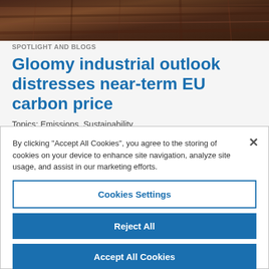[Figure (photo): Close-up of dark brown/rust-colored industrial or natural texture, possibly wood or metal]
SPOTLIGHT AND BLOGS
Gloomy industrial outlook distresses near-term EU carbon price
Topics: Emissions, Sustainability
By clicking “Accept All Cookies”, you agree to the storing of cookies on your device to enhance site navigation, analyze site usage, and assist in our marketing efforts.
Cookies Settings
Reject All
Accept All Cookies